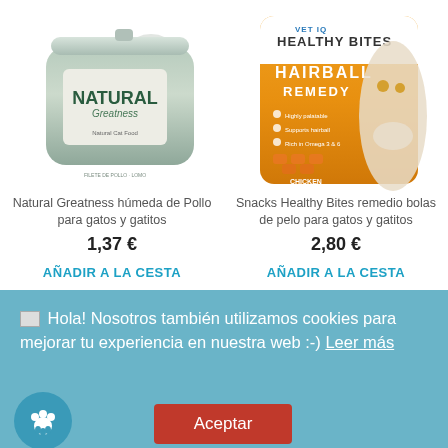[Figure (photo): Product image of Natural Greatness wet food tin for cats]
[Figure (photo): Product image of VetIQ Healthy Bites Hairball Remedy snacks bag with cat]
Natural Greatness húmeda de Pollo para gatos y gatitos
Snacks Healthy Bites remedio bolas de pelo para gatos y gatitos
1,37 €
2,80 €
AÑADIR A LA CESTA
AÑADIR A LA CESTA
🐾 Hola! Nosotros también utilizamos cookies para mejorar tu experiencia en nuestra web :-) Leer más
Aceptar